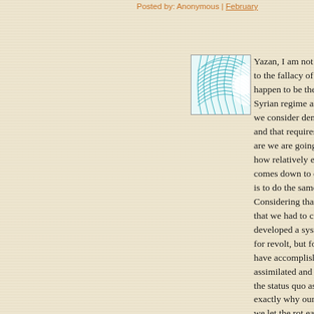Posted by: Anonymous | February
[Figure (illustration): Avatar image: teal/cyan geometric fan or grid pattern on white background, square thumbnail]
Yazan, I am not trying to disc- to the fallacy of a certain app- happen to be the weapons of Syrian regime and the majori- we consider democracy, we a- and that requires a lot convin- are we are going to pay dear- how relatively easy it is to co- comes down to opposing fore- is to do the same when it co- Considering that, historically, that we had to contend with r- developed a system for that b- for revolt, but for democracy i- have accomplished is the aut- assimilated and continuously the status quo as the preferre- exactly why our societies ten- we let the rot eat way at our b- come tumbling down and we because we had not bothere-